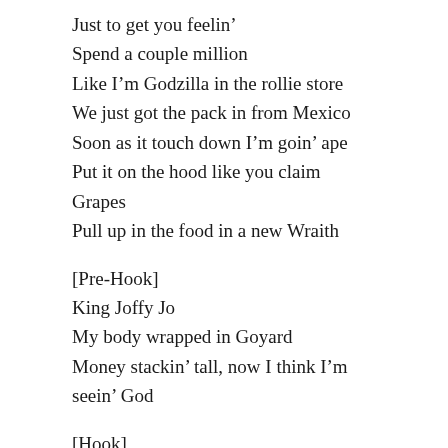Just to get you feelin'
Spend a couple million
Like I'm Godzilla in the rollie store
We just got the pack in from Mexico
Soon as it touch down I'm goin' ape
Put it on the hood like you claim Grapes
Pull up in the food in a new Wraith
[Pre-Hook]
King Joffy Jo
My body wrapped in Goyard
Money stackin' tall, now I think I'm seein' God
[Hook]
I been poppin' tags, I been poppin' tags
Poppin' tags, I been poppin' tags